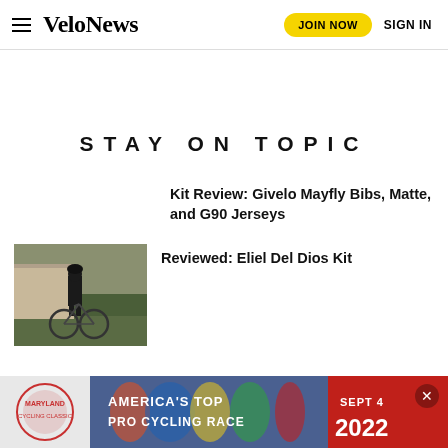VeloNews | JOIN NOW | SIGN IN
STAY ON TOPIC
Kit Review: Givelo Mayfly Bibs, Matte, and G90 Jerseys
[Figure (photo): Cyclist in dark kit standing with road bike outdoors]
Reviewed: Eliel Del Dios Kit
[Figure (infographic): Ad banner: America's Top Pro Cycling Race, Sept 4 2022, Maryland Cycling Classic logo]